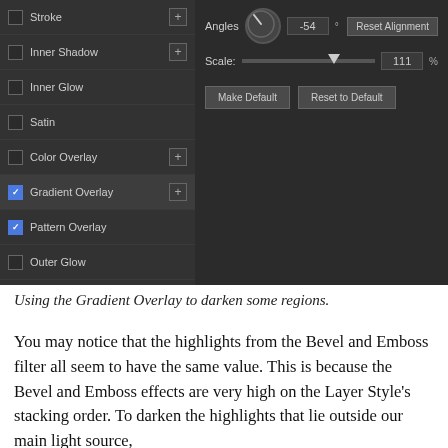[Figure (screenshot): Photoshop Layer Style panel showing a dark-themed UI. Left panel lists effects: Stroke, Inner Shadow, Inner Glow, Satin, Color Overlay, Gradient Overlay (checked/highlighted), Pattern Overlay (checked), Outer Glow, Drop Shadow. Right panel shows Gradient Overlay settings: Angles -54°, Scale 111%, with Make Default and Reset to Default buttons.]
Using the Gradient Overlay to darken some regions.
You may notice that the highlights from the Bevel and Emboss filter all seem to have the same value. This is because the Bevel and Emboss effects are very high on the Layer Style's stacking order. To darken the highlights that lie outside our main light source,